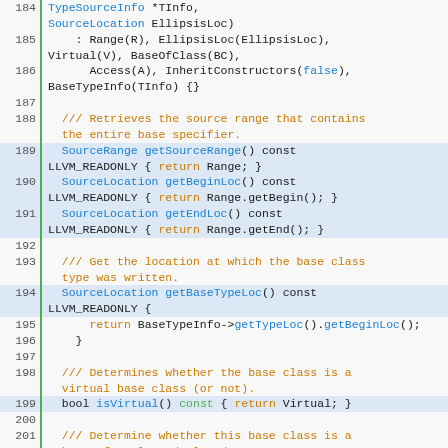[Figure (screenshot): Source code listing showing C++ code lines 184-204 with syntax highlighting. Line numbers on left with green border. Keywords highlighted in blue, orange, and green colors on a light gray background.]